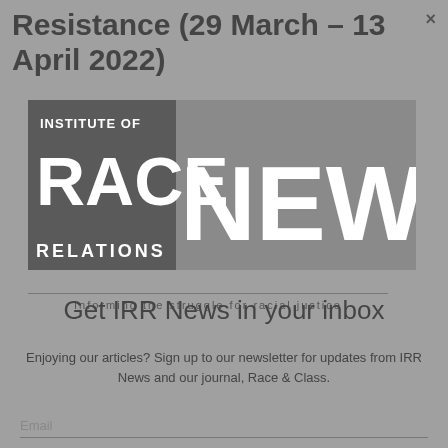Resistance (29 March – 13 April 2022)
[Figure (logo): Institute of Race Relations News logo — dark grey box on left with 'INSTITUTE OF RACE RELATIONS' text, large 'NEWS' text on right. Tagline: 'Informing the struggle for racial justice']
Get IRR News in your inbox
Enjoying our articles? Sign up to our newsletter for updates from IRR News and our journal, Race & Class.
Email